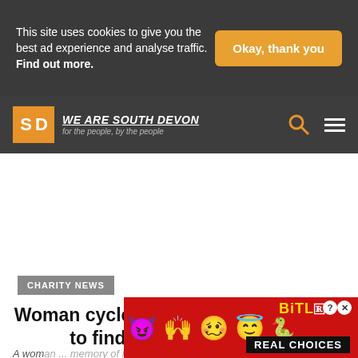This site uses cookies to give you the best ad experience and analyse traffic. Find out more.
Okay, thank you
[Figure (logo): We Are South Devon logo with SD in orange box and tagline 'for the people, by the people']
CHARITY NEWS
Woman cycles across three countries to find brain tumour cure
A woman ... memory of her ... 20